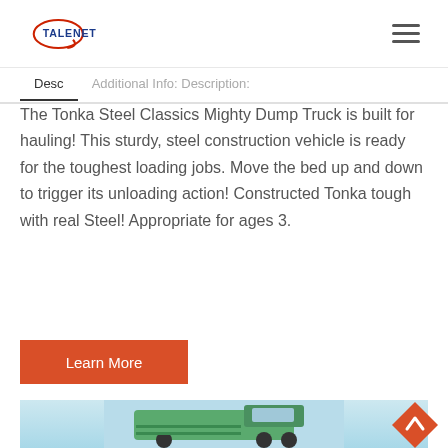TALENET
Desc    Additional Info: Description:
The Tonka Steel Classics Mighty Dump Truck is built for hauling! This sturdy, steel construction vehicle is ready for the toughest loading jobs. Move the bed up and down to trigger its unloading action! Constructed Tonka tough with real Steel! Appropriate for ages 3.
Learn More
[Figure (photo): Green dump truck photographed from front-left angle against a light blue sky background]